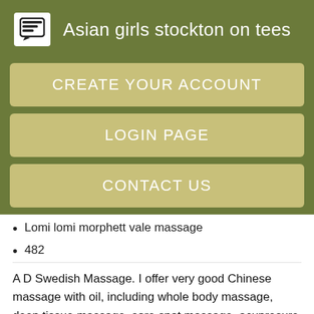Asian girls stockton on tees
CREATE YOUR ACCOUNT
LOGIN PAGE
CONTACT US
Lomi lomi morphett vale massage
482
A D Swedish Massage. I offer very good Chinese massage with oil, including whole body massage, deep tissue massage, sore spot massage, acupresure massage, remedial massage, therapeutic massage, remedial treatment massage, head massage and foot massage, cupping and scraping.